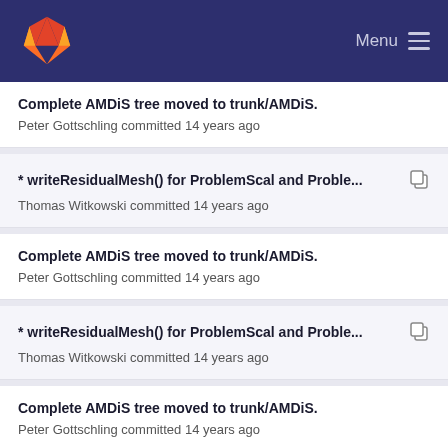GitLab — Menu
Complete AMDiS tree moved to trunk/AMDiS.
Peter Gottschling committed 14 years ago
* writeResidualMesh() for ProblemScal and Proble...
Thomas Witkowski committed 14 years ago
Complete AMDiS tree moved to trunk/AMDiS.
Peter Gottschling committed 14 years ago
* writeResidualMesh() for ProblemScal and Proble...
Thomas Witkowski committed 14 years ago
Complete AMDiS tree moved to trunk/AMDiS.
Peter Gottschling committed 14 years ago